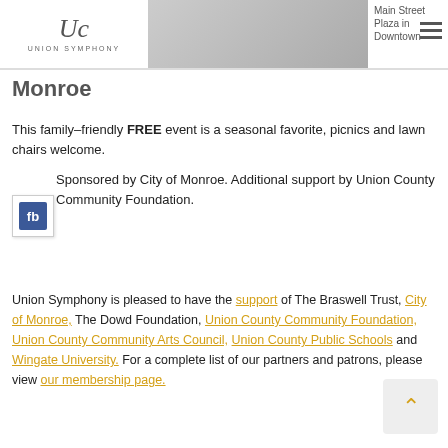[Figure (logo): Union Symphony logo with script 'US' and text 'UNION SYMPHONY' below]
[Figure (photo): Grayscale photo of an outdoor event or performance]
Main Street Plaza in Downtown
Monroe
This family-friendly FREE event is a seasonal favorite, picnics and lawn chairs welcome.
Sponsored by City of Monroe. Additional support by Union County Community Foundation.
Union Symphony is pleased to have the support of The Braswell Trust, City of Monroe, The Dowd Foundation, Union County Community Foundation, Union County Community Arts Council, Union County Public Schools and Wingate University. For a complete list of our partners and patrons, please view our membership page.